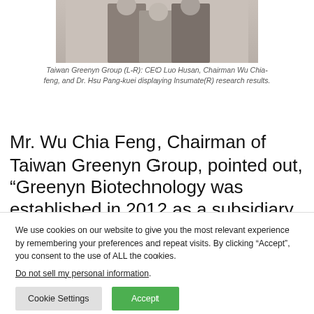[Figure (photo): Photo of Taiwan Greenyn Group members (L-R): CEO Luo Husan, Chairman Wu Chia-feng, and Dr. Hsu Pang-kuei displaying Insumate(R) research results.]
Taiwan Greenyn Group (L-R): CEO Luo Husan, Chairman Wu Chia-feng, and Dr. Hsu Pang-kuei displaying Insumate(R) research results.
Mr. Wu Chia Feng, Chairman of Taiwan Greenyn Group, pointed out, “Greenyn Biotechnology was established in 2012 as a subsidiary of Taiwan Greenyn Corporation. The company has many
We use cookies on our website to give you the most relevant experience by remembering your preferences and repeat visits. By clicking “Accept”, you consent to the use of ALL the cookies.
Do not sell my personal information.
Cookie Settings   Accept